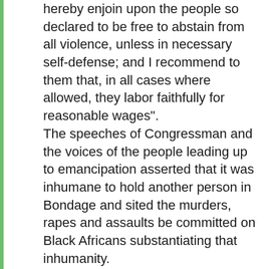hereby enjoin upon the people so declared to be free to abstain from all violence, unless in necessary self-defense; and I recommend to them that, in all cases where allowed, they labor faithfully for reasonable wages". The speeches of Congressman and the voices of the people leading up to emancipation asserted that it was inhumane to hold another person in Bondage and sited the murders, rapes and assaults be committed on Black Africans substantiating that inhumanity. Reconstruction resulted in Black Africans migrating to the North to labor faithfully for a reasonable wage and because of Southern violence and the up kept under funded and un-fulfilled promises to the new people, Afrikan Americans. The term Negro derived from the Spanish (Latin) Language and had something to do with the endeavor to expand Slavery into the